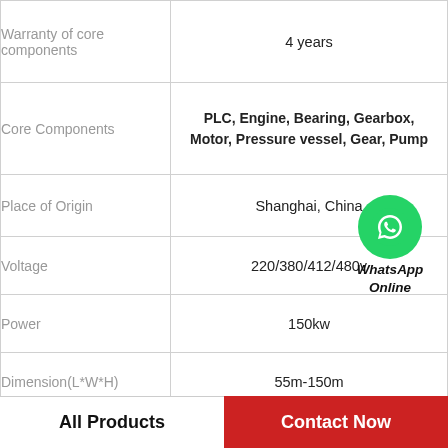|  |  |
| --- | --- |
| Warranty of core components | 4 years |
| Core Components | PLC, Engine, Bearing, Gearbox, Motor, Pressure vessel, Gear, Pump |
| Place of Origin | Shanghai, China |
| Voltage | 220/380/412/480v |
| Power | 150kw |
| Dimension(L*W*H) | 55m-150m |
| Weight | 25000 KG |
| Warranty | 5 years |
All Products
Contact Now